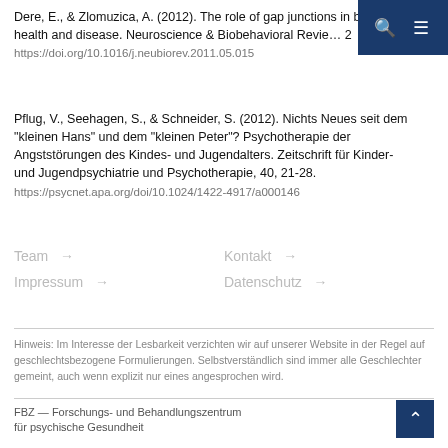Dere, E., & Zlomuzica, A. (2012). The role of gap junctions in the brain in health and disease. Neuroscience & Biobehavioral Reviews, 36, 206–212. https://doi.org/10.1016/j.neubiorev.2011.05.015
Pflug, V., Seehagen, S., & Schneider, S. (2012). Nichts Neues seit dem "kleinen Hans" und dem "kleinen Peter"? Psychotherapie der Angststörungen des Kindes- und Jugendalters. Zeitschrift für Kinder- und Jugendpsychiatrie und Psychotherapie, 40, 21-28. https://psycnet.apa.org/doi/10.1024/1422-4917/a000146
Team →
Kontakt →
Impressum →
Datenschutz →
Hinweis: Im Interesse der Lesbarkeit verzichten wir auf unserer Website in der Regel auf geschlechtsbezogene Formulierungen. Selbstverständlich sind immer alle Geschlechter gemeint, auch wenn explizit nur eines angesprochen wird.
FBZ — Forschungs- und Behandlungszentrum für psychische Gesundheit

Bochumer Fenster
Massenbergstraße 9–13